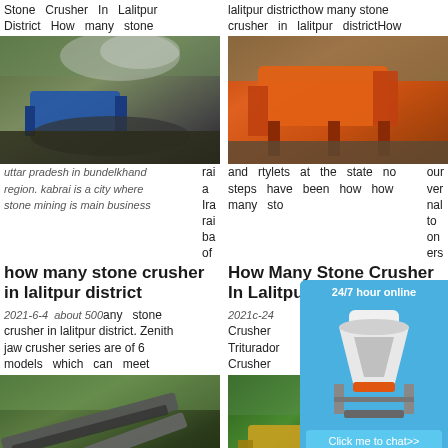Stone Crusher In Lalitpur District How many stone
[Figure (photo): Photo of stone crusher machine at outdoor mining site, blue machinery with dust cloud]
rai a Ira rai ba of uttar pradesh in bundelkhand region. kabrai is a city where stone mining is main business there are about 500 stone crusher in lalitpur district. Zenith jaw crusher series are of 6 models which can meet
how many stone crusher in lalitpur district
2021-6-4 about 500 any stone crusher in lalitpur district. Zenith jaw crusher series are of 6 models which can meet
[Figure (photo): Photo of conveyor belt system at quarry/mining site]
in ary jaw an of ent which adopts international
How Many Stone Crusher In Lalitpur District
advanced technology read more PF Impact Crusher.
Stone Crusher And Quarry
lalitpur districthow many stone crusher in lalitpur districtHow
[Figure (photo): Photo of large orange mobile stone crusher machine at outdoor site]
our ver nal to on ers and rtylets at the state no steps have been how how many sto
How Many Stone Crusher In Lalitpu
2021c-24 Crusher Triturador Crusher
[Figure (photo): Photo of green/yellow mining equipment at outdoor excavation site]
electronic how many in lalitpu and the capacity
[Figure (infographic): 24/7 hour online chat widget with cone crusher image, Click me to chat>> button, Enquiry section, and limingjlmofen text]
2030 6 10